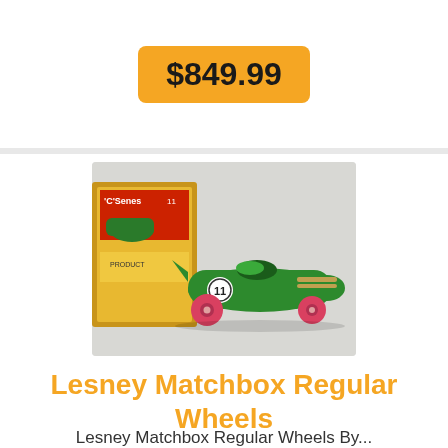$849.99
[Figure (photo): A green Lesney Matchbox Regular Wheels die-cast toy racing car with pink/red wheels and a white racing number circle, photographed next to its original yellow-and-red Matchbox Series box.]
Lesney Matchbox Regular Wheels
Lesney Matchbox Regular Wheels By...